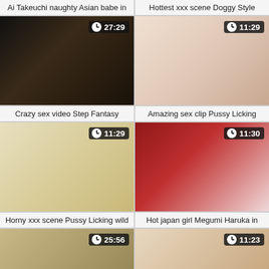Ai Takeuchi naughty Asian babe in
Hottest xxx scene Doggy Style
[Figure (photo): Video thumbnail with duration 27:29]
[Figure (photo): Video thumbnail with duration 11:29]
Crazy sex video Step Fantasy
Amazing sex clip Pussy Licking
[Figure (photo): Video thumbnail with duration 11:29]
[Figure (photo): Video thumbnail with duration 11:30]
Horny xxx scene Pussy Licking wild
Hot japan girl Megumi Haruka in
[Figure (photo): Video thumbnail with duration 25:56]
[Figure (photo): Video thumbnail with duration 11:23]